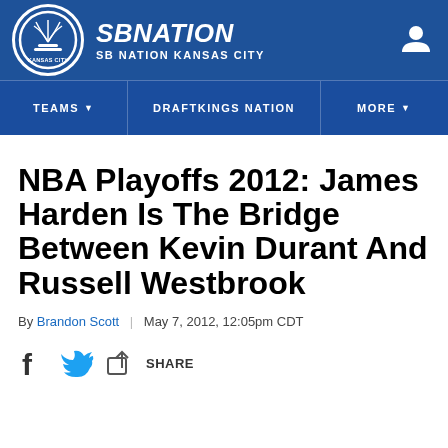SB NATION | SB NATION KANSAS CITY
NBA Playoffs 2012: James Harden Is The Bridge Between Kevin Durant And Russell Westbrook
By Brandon Scott | May 7, 2012, 12:05pm CDT
SHARE